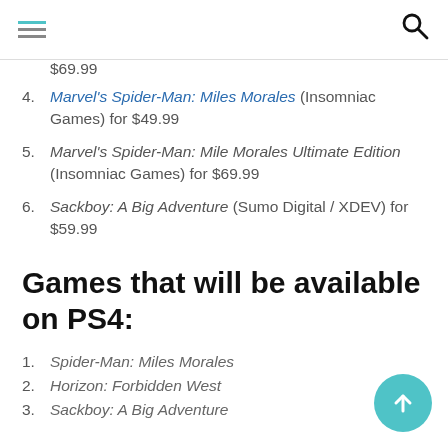[hamburger menu] [search icon]
$69.99
Marvel's Spider-Man: Miles Morales (Insomniac Games) for $49.99
Marvel's Spider-Man: Mile Morales Ultimate Edition (Insomniac Games) for $69.99
Sackboy: A Big Adventure (Sumo Digital / XDEV) for $59.99
Games that will be available on PS4:
Spider-Man: Miles Morales
Horizon: Forbidden West
Sackboy: A Big Adventure